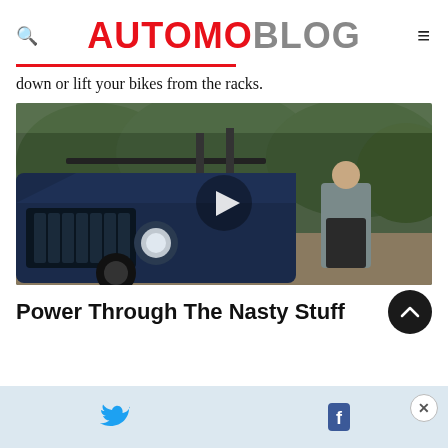AUTOMOBLOG
down or lift your bikes from the racks.
[Figure (photo): Video thumbnail showing a blue Jeep Wrangler with a person standing beside it, trees in background, with a play button overlay.]
Power Through The Nasty Stuff
[Figure (infographic): Light blue bottom advertisement/share bar with Twitter bird icon and Facebook F icon, and a close X button.]